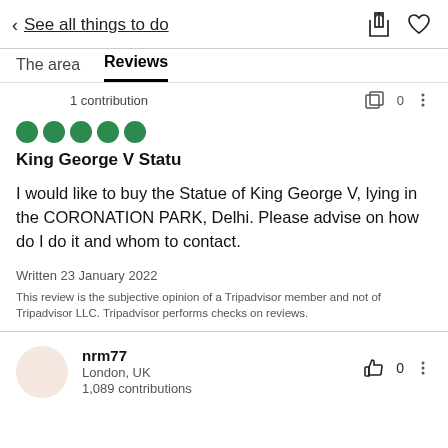< See all things to do
The area   Reviews
1 contribution
King George V Statu
I would like to buy the Statue of King George V, lying in the CORONATION PARK, Delhi. Please advise on how do I do it and whom to contact.
Written 23 January 2022
This review is the subjective opinion of a Tripadvisor member and not of Tripadvisor LLC. Tripadvisor performs checks on reviews.
nrm77
London, UK
1,089 contributions